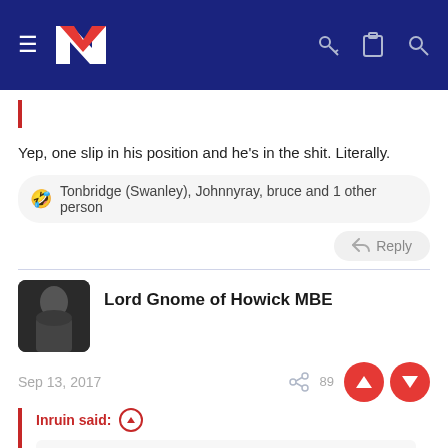[Figure (screenshot): Navigation bar with dark blue background, hamburger menu, NZ logo, and icons for key, clipboard, search]
Yep, one slip in his position and he's in the shit. Literally.
🤣 Tonbridge (Swanley), Johnnyray, bruce and 1 other person
Reply
Lord Gnome of Howick MBE
Sep 13, 2017
Inruin said:
Charlie apparently good with the tackle but lacks penetration